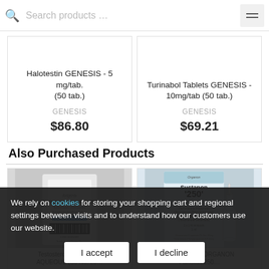Search products …
Halotestin GENESIS - 5 mg/tab. (50 tab.)
GENESIS
$86.80
Turinabol Tablets GENESIS - 10mg/tab (50 tab.)
GENESIS
$69.21
Also Purchased Products
[Figure (photo): Product image: Testosterone Enanthate 250 ampoule package]
Testosterone Enanthate AQUEOUS (So No. 25…
[Figure (photo): Product image: Sustanon 250 ORGANON box with ampoule]
Sustanon 250 ORGANON Pakistan 250…
We rely on cookies for storing your shopping cart and regional settings between visits and to understand how our customers use our website.
I accept    I decline